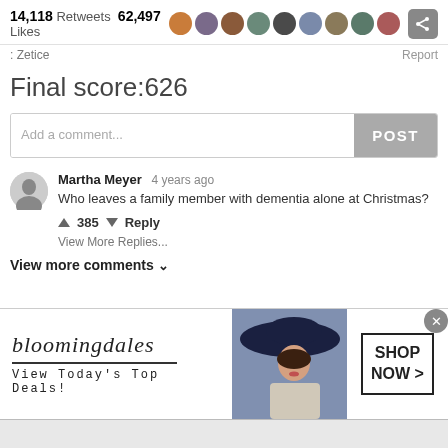14,118 Retweets  62,497 Likes
Zetice
Report
Final score:626
Add a comment...
POST
Martha Meyer  4 years ago
Who leaves a family member with dementia alone at Christmas?
↑ 385 ↓  Reply
View More Replies...
View more comments ∨
[Figure (screenshot): Bloomingdale's advertisement banner: logo, 'View Today's Top Deals!', woman with hat image, 'SHOP NOW >' button]